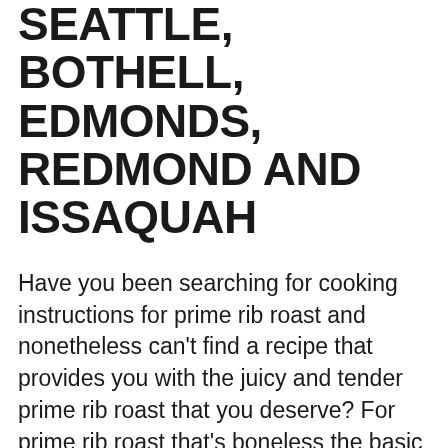SEATTLE, BOTHELL, EDMONDS, REDMOND AND ISSAQUAH
Have you been searching for cooking instructions for prime rib roast and nonetheless can't find a recipe that provides you with the juicy and tender prime rib roast that you deserve? For prime rib roast that's boneless the basic cooking time is for medium is a three to four pound prime rib roast must be cooked at 350 degrees Fahrenheit for 23 to half-hour per pound, for a four to 6 pound prime rib roast it is best to cook it at 350 degrees Fahrenheit for 18 to 20 minutes per pound and for